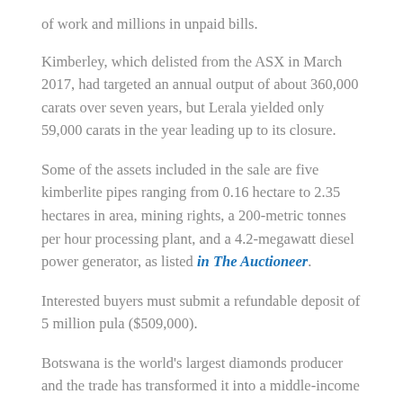of work and millions in unpaid bills.
Kimberley, which delisted from the ASX in March 2017, had targeted an annual output of about 360,000 carats over seven years, but Lerala yielded only 59,000 carats in the year leading up to its closure.
Some of the assets included in the sale are five kimberlite pipes ranging from 0.16 hectare to 2.35 hectares in area, mining rights, a 200-metric tonnes per hour processing plant, and a 4.2-megawatt diesel power generator, as listed in The Auctioneer.
Interested buyers must submit a refundable deposit of 5 million pula ($509,000).
Botswana is the world's largest diamonds producer and the trade has transformed it into a middle-income nation.
The country is home to prolific diamond mines, including Lucara Diamond's Karowe operation, where the now famous "Lesedi la Rona," the largest diamond discovered in more